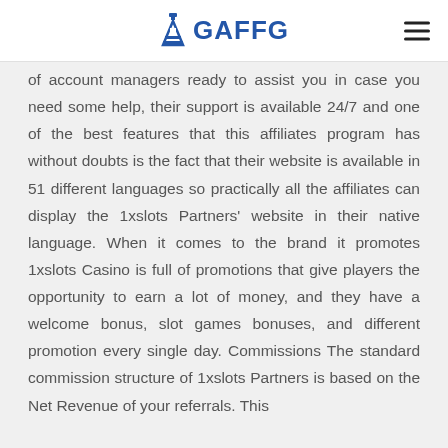GAFFG
of account managers ready to assist you in case you need some help, their support is available 24/7 and one of the best features that this affiliates program has without doubts is the fact that their website is available in 51 different languages so practically all the affiliates can display the 1xslots Partners' website in their native language. When it comes to the brand it promotes 1xslots Casino is full of promotions that give players the opportunity to earn a lot of money, and they have a welcome bonus, slot games bonuses, and different promotion every single day. Commissions The standard commission structure of 1xslots Partners is based on the Net Revenue of your referrals. This